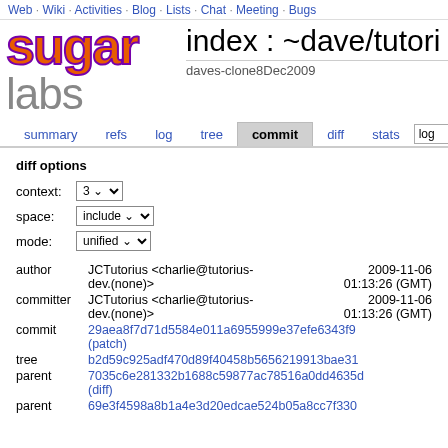Web · Wiki · Activities · Blog · Lists · Chat · Meeting · Bugs
sugar labs  index : ~dave/tutori...
daves-clone8Dec2009
summary  refs  log  tree  commit  diff  stats  log
diff options
context: 3
space: include
mode: unified
|  |  |  |
| --- | --- | --- |
| author | JCTutorius <charlie@tutorius-dev.(none)> | 2009-11-06 01:13:26 (GMT) |
| committer | JCTutorius <charlie@tutorius-dev.(none)> | 2009-11-06 01:13:26 (GMT) |
| commit | 29aea8f7d71d5584e011a6955999e37efe6343f9 (patch) |  |
| tree | b2d59c925adf470d89f40458b5656219913bae31 |  |
| parent | 7035c6e281332b1688c59877ac78516a0dd4635d (diff) |  |
| parent | 69e3f4598a8b1a4e3d20edcae524b05a8cc7f330 |  |